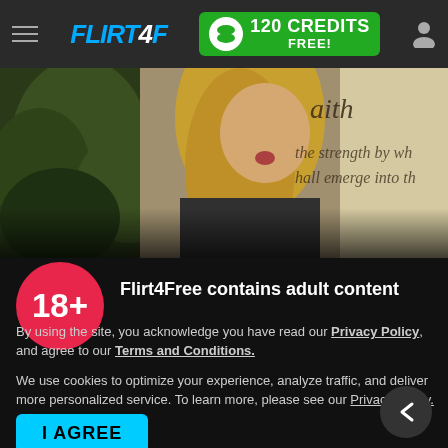FLIRT4FREE — 120 CREDITS FREE!
[Figure (screenshot): Video thumbnail showing a blonde woman in front of a plant and wall with cursive text reading 'faith ... the strength by wh... hall emerge into th...']
18+
Flirt4Free contains adult content
By using the site, you acknowledge you have read our Privacy Policy, and agree to our Terms and Conditions.
We use cookies to optimize your experience, analyze traffic, and deliver more personalized service. To learn more, please see our Privacy Policy.
I AGREE